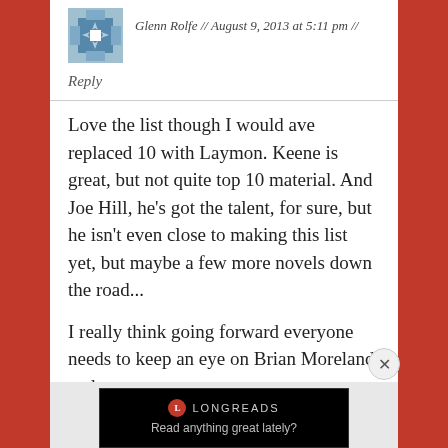Glenn Rolfe // August 9, 2013 at 5:11 pm //
Reply
Love the list though I would ave replaced 10 with Laymon. Keene is great, but not quite top 10 material. And Joe Hill, he’s got the talent, for sure, but he isn’t even close to making this list yet, but maybe a few more novels down the road...
I really think going forward everyone needs to keep an eye on Brian Moreland and
Advertisements
[Figure (screenshot): Longreads advertisement banner on black background reading 'Read anything great lately?']